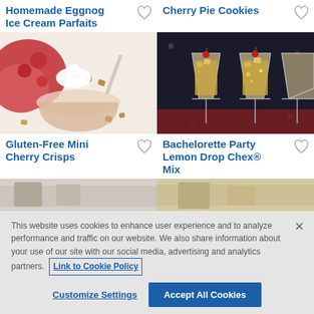Homemade Eggnog Ice Cream Parfaits
[Figure (photo): Photo of homemade eggnog ice cream parfait with whipped cream and cereal topping in a glass bowl with red berries]
Cherry Pie Cookies
[Figure (photo): Photo of cherry pie cookies in martini glasses with yellow cereal mix and red cherries on dark background]
Gluten-Free Mini Cherry Crisps
[Figure (photo): Partially visible photo of gluten-free mini cherry crisps]
Bachelorette Party Lemon Drop Chex® Mix
[Figure (photo): Partially visible photo of Bachelorette Party Lemon Drop Chex Mix]
This website uses cookies to enhance user experience and to analyze performance and traffic on our website. We also share information about your use of our site with our social media, advertising and analytics partners.
Link to Cookie Policy
Customize Settings
Accept All Cookies